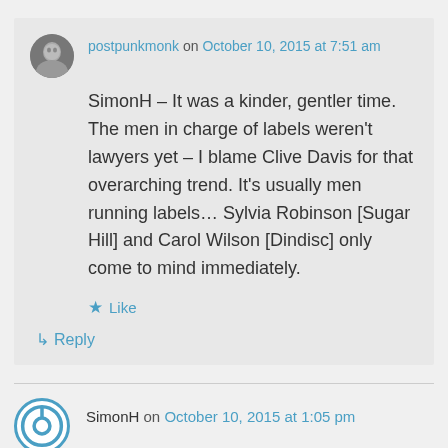postpunkmonk on October 10, 2015 at 7:51 am
SimonH – It was a kinder, gentler time. The men in charge of labels weren't lawyers yet – I blame Clive Davis for that overarching trend. It's usually men running labels… Sylvia Robinson [Sugar Hill] and Carol Wilson [Dindisc] only come to mind immediately.
★ Like
↳ Reply
SimonH on October 10, 2015 at 1:05 pm